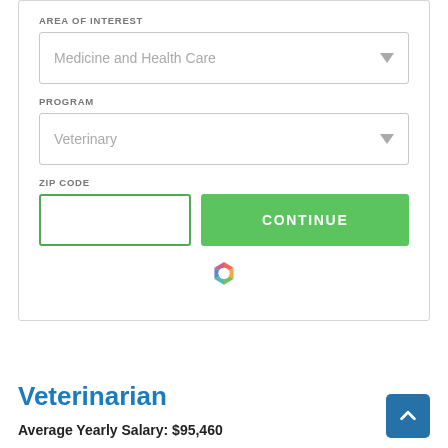AREA OF INTEREST
Medicine and Health Care
PROGRAM
Veterinary
ZIP CODE
CONTINUE
[Figure (logo): Colorful hexagon logo mark]
Veterinarian
Average Yearly Salary: $95,460